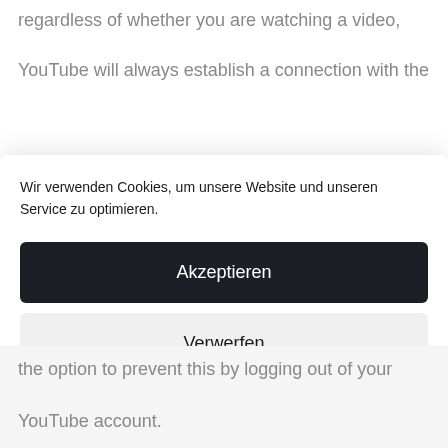regardless of whether you are watching a video, YouTube will always establish a connection with the
Wir verwenden Cookies, um unsere Website und unseren Service zu optimieren.
Akzeptieren
Verwerfen
Vorlieben
Privacy Policy   Privacy Policy   Imprint
the option to prevent this by logging out of your YouTube account.